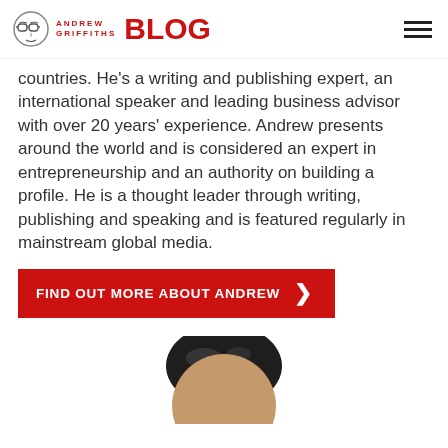ANDREW GRIFFITHS BLOG
countries. He's a writing and publishing expert, an international speaker and leading business advisor with over 20 years' experience. Andrew presents around the world and is considered an expert in entrepreneurship and an authority on building a profile. He is a thought leader through writing, publishing and speaking and is featured regularly in mainstream global media.
FIND OUT MORE ABOUT ANDREW >
[Figure (photo): Portrait photo of Andrew Griffiths, top of head visible]